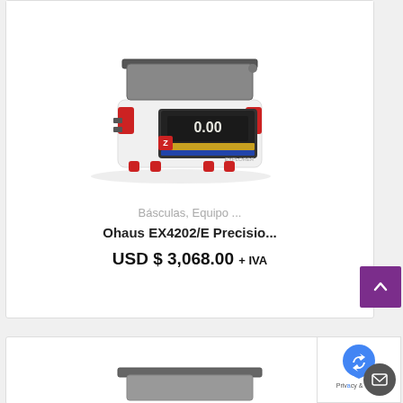[Figure (photo): Ohaus EX4202/E precision laboratory balance scale, white and red body with digital display showing 0.00]
Básculas, Equipo ...
Ohaus EX4202/E Precisio...
USD $ 3,068.00 + IVA
[Figure (photo): Partially visible laboratory scale at the bottom of the page]